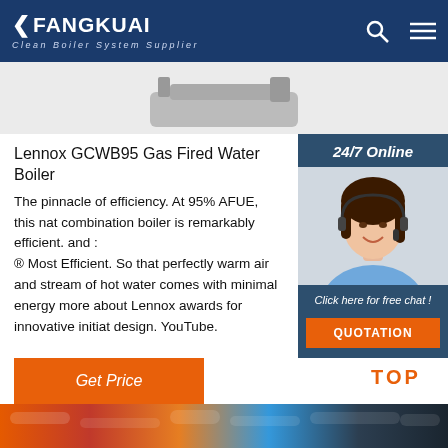FANGKUAI Clean Boiler System Supplier
[Figure (photo): Partial product image at top of page (cropped boiler equipment)]
[Figure (photo): 24/7 Online customer service widget with photo of smiling woman with headset, Click here for free chat! QUOTATION button]
Lennox GCWB95 Gas Fired Water Boiler
The pinnacle of efficiency. At 95% AFUE, this nat combination boiler is remarkably efficient. and : ® Most Efficient. So that perfectly warm air and stream of hot water comes with minimal energy more about Lennox awards for innovative initiat design. YouTube.
[Figure (illustration): TOP button with orange dots forming upward arrow and orange TOP text]
[Figure (photo): Bottom strip with colorful pipes/equipment image]